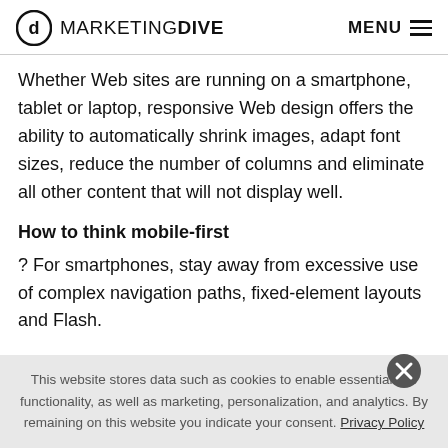MARKETING DIVE  MENU
Whether Web sites are running on a smartphone, tablet or laptop, responsive Web design offers the ability to automatically shrink images, adapt font sizes, reduce the number of columns and eliminate all other content that will not display well.
How to think mobile-first
? For smartphones, stay away from excessive use of complex navigation paths, fixed-element layouts and Flash.
This website stores data such as cookies to enable essential site functionality, as well as marketing, personalization, and analytics. By remaining on this website you indicate your consent. Privacy Policy